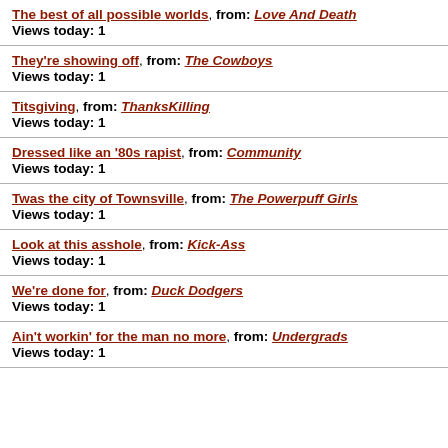The best of all possible worlds, from: Love And Death
Views today: 1
They're showing off, from: The Cowboys
Views today: 1
Titsgiving, from: ThanksKilling
Views today: 1
Dressed like an '80s rapist, from: Community
Views today: 1
Twas the city of Townsville, from: The Powerpuff Girls
Views today: 1
Look at this asshole, from: Kick-Ass
Views today: 1
We're done for, from: Duck Dodgers
Views today: 1
Ain't workin' for the man no more, from: Undergrads
Views today: 1